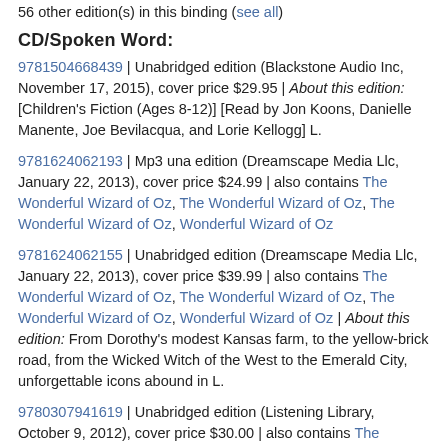56 other edition(s) in this binding (see all)
CD/Spoken Word:
9781504668439 | Unabridged edition (Blackstone Audio Inc, November 17, 2015), cover price $29.95 | About this edition: [Children's Fiction (Ages 8-12)] [Read by Jon Koons, Danielle Manente, Joe Bevilacqua, and Lorie Kellogg] L.
9781624062193 | Mp3 una edition (Dreamscape Media Llc, January 22, 2013), cover price $24.99 | also contains The Wonderful Wizard of Oz, The Wonderful Wizard of Oz, The Wonderful Wizard of Oz, Wonderful Wizard of Oz
9781624062155 | Unabridged edition (Dreamscape Media Llc, January 22, 2013), cover price $39.99 | also contains The Wonderful Wizard of Oz, The Wonderful Wizard of Oz, The Wonderful Wizard of Oz, Wonderful Wizard of Oz | About this edition: From Dorothy's modest Kansas farm, to the yellow-brick road, from the Wicked Witch of the West to the Emerald City, unforgettable icons abound in L.
9780307941619 | Unabridged edition (Listening Library, October 9, 2012), cover price $30.00 | also contains The Wonderful Wizard of Oz, The Wonderful Wizard of Oz, The Wonderful Wizard of Oz, Wonderful Wizard of Oz